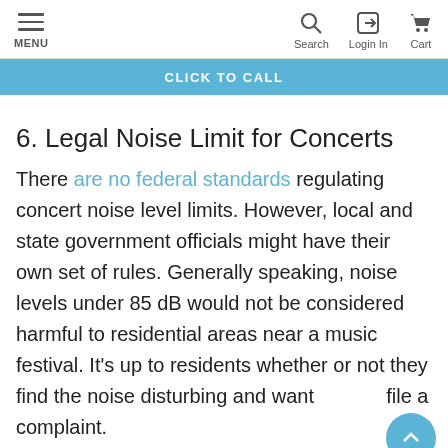MENU | Search | Login In | Cart
CLICK TO CALL
6. Legal Noise Limit for Concerts
There are no federal standards regulating concert noise level limits. However, local and state government officials might have their own set of rules. Generally speaking, noise levels under 85 dB would not be considered harmful to residential areas near a music festival. It’s up to residents whether or not they find the noise disturbing and want file a complaint.